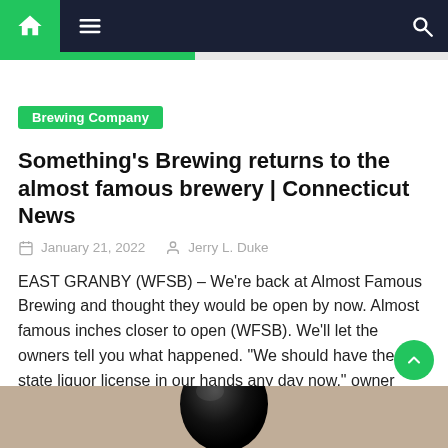Navigation bar with home, menu, and search icons
Brewing Company
Something's Brewing returns to the almost famous brewery | Connecticut News
January 21, 2022   Jerry L. Duke
EAST GRANBY (WFSB) – We're back at Almost Famous Brewing and thought they would be open by now. Almost famous inches closer to open (WFSB). We'll let the owners tell you what happened. "We should have the state liquor license in our hands any day now," owner Chip Glanovsky said. "That's what we're waiting for. [...]
[Figure (photo): Bottom portion of page showing a dark black rounded object (possibly a bowling ball or similar) against a beige/tan background]